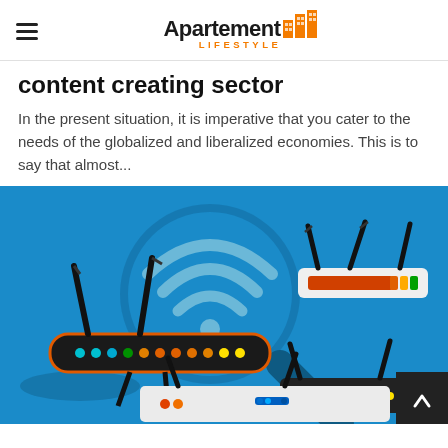Apartement Lifestyle
content creating sector
In the present situation, it is imperative that you cater to the needs of the globalized and liberalized economies. This is to say that almost...
[Figure (illustration): Illustration of multiple WiFi routers on a blue background with a large WiFi symbol in the center. Several routers of different styles are shown with antennas, LED indicator lights, and flat design styling.]